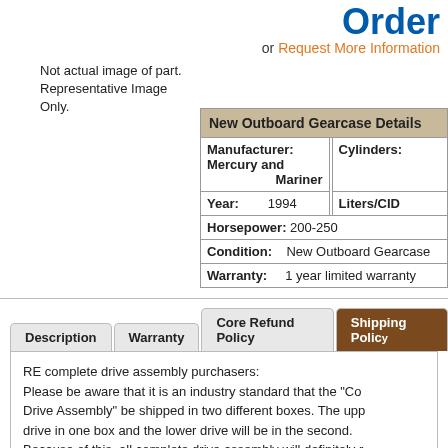Order
or Request More Information
Not actual image of part. Representative Image Only.
| New Outboard Gearcase Details |  |  |
| --- | --- | --- |
| Manufacturer: Mercury and Mariner |  | Cylinders: |
| Year: | 1994 | Liters/CID |
| Horsepower: | 200-250 |  |
| Condition: | New Outboard Gearcase |  |
| Warranty: | 1 year limited warranty |  |
Description | Warranty | Core Refund Policy | Shipping Policy
RE complete drive assembly purchasers:
Please be aware that it is an industry standard that the "Complete Drive Assembly" be shipped in two different boxes. The upper drive in one box and the lower drive will be in the second.
Because of this, all complete drive assembly will definitely require some assembly.